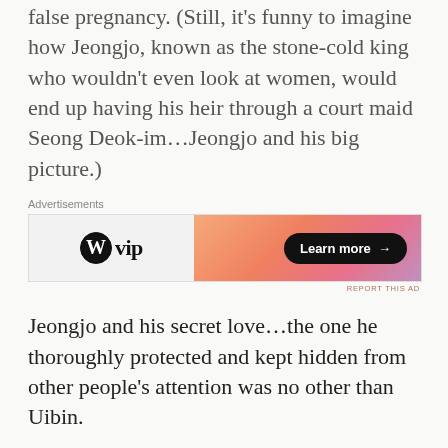false pregnancy. (Still, it's funny to imagine how Jeongjo, known as the stone-cold king who wouldn't even look at women, would end up having his heir through a court maid Seong Deok-im…Jeongjo and his big picture.)
[Figure (other): WordPress VIP advertisement banner with orange-to-purple gradient on right side and 'Learn more →' button]
Jeongjo and his secret love…the one he thoroughly protected and kept hidden from other people's attention was no other than Uibin.
'The heir everyone was waiting for was finally bestowed by the Heavens in the 6th year of Jeongjo's reign through the court maid Lady